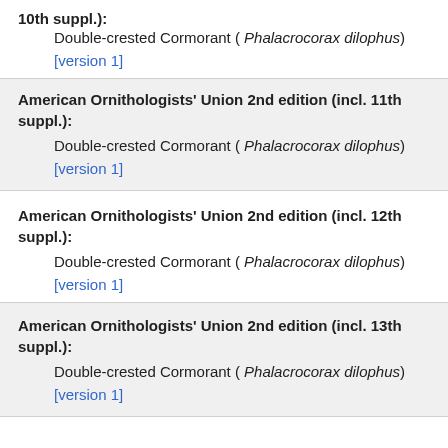10th suppl.): Double-crested Cormorant ( Phalacrocorax dilophus) [version 1]
American Ornithologists' Union 2nd edition (incl. 11th suppl.):
Double-crested Cormorant ( Phalacrocorax dilophus) [version 1]
American Ornithologists' Union 2nd edition (incl. 12th suppl.):
Double-crested Cormorant ( Phalacrocorax dilophus) [version 1]
American Ornithologists' Union 2nd edition (incl. 13th suppl.):
Double-crested Cormorant ( Phalacrocorax dilophus) [version 1]